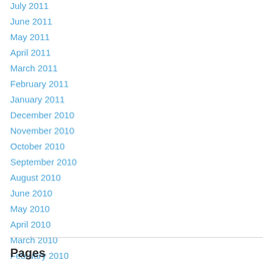July 2011
June 2011
May 2011
April 2011
March 2011
February 2011
January 2011
December 2010
November 2010
October 2010
September 2010
August 2010
June 2010
May 2010
April 2010
March 2010
February 2010
Pages